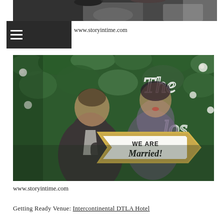[Figure (photo): Top-cropped wedding photo showing couple from waist up, man in dark suit, woman in white dress, dark background]
www.storyintime.com
[Figure (photo): Wedding couple holding a gold glitter arrow sign reading 'WE ARE Married!' in front of a green leafy wall backdrop with white flowers and neon light lettering]
www.storyintime.com
Getting Ready Venue: Intercontinental DTLA Hotel